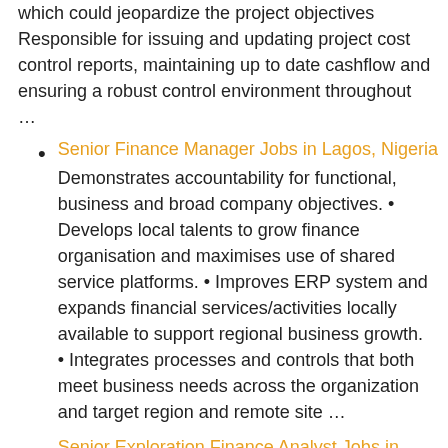which could jeopardize the project objectives Responsible for issuing and updating project cost control reports, maintaining up to date cashflow and ensuring a robust control environment throughout …
Senior Finance Manager Jobs in Lagos, Nigeria
Demonstrates accountability for functional, business and broad company objectives. • Develops local talents to grow finance organisation and maximises use of shared service platforms. • Improves ERP system and expands financial services/activities locally available to support regional business growth. • Integrates processes and controls that both meet business needs across the organization and target region and remote site …
Senior Exploration Finance Analyst Jobs in Perth, Australia